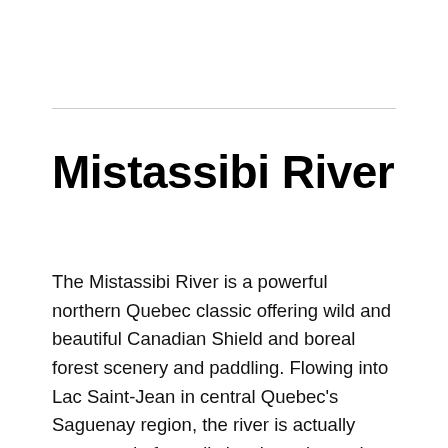Mistassibi River
The Mistassibi River is a powerful northern Quebec classic offering wild and beautiful Canadian Shield and boreal forest scenery and paddling. Flowing into Lac Saint-Jean in central Quebec's Saguenay region, the river is actually composed of two distinct branches—the Riviere Mistassibi Nord-Est (Northeast) and the Riviere Mistassibi Nord-Ouest (Northwest)—each spilling more than 100 km from